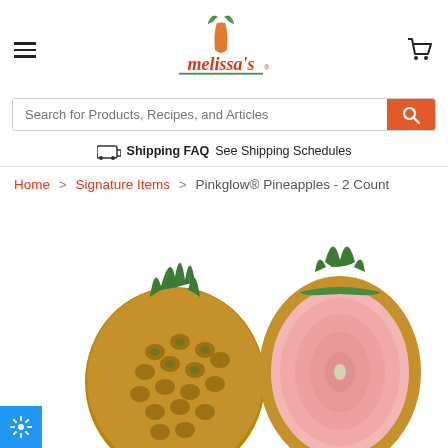[Figure (logo): Melissa's brand logo with carrot icon and red text on green underline]
Search for Products, Recipes, and Articles
Shipping FAQ See Shipping Schedules
Home > Signature Items > Pinkglow® Pineapples - 2 Count
[Figure (photo): Two Pinkglow pineapples, one whole and one cut in half showing pink flesh interior]